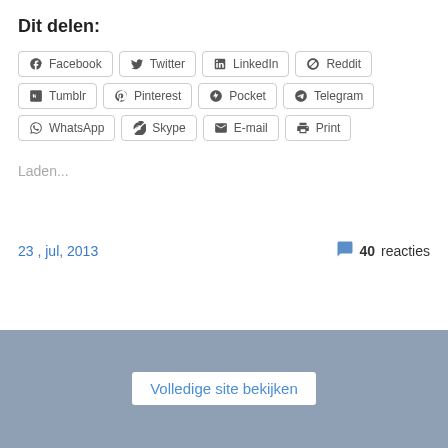Dit delen:
Facebook Twitter LinkedIn Reddit Tumblr Pinterest Pocket Telegram WhatsApp Skype E-mail Print
Laden...
23 , jul, 2013
40 reacties
Volledige site bekijken